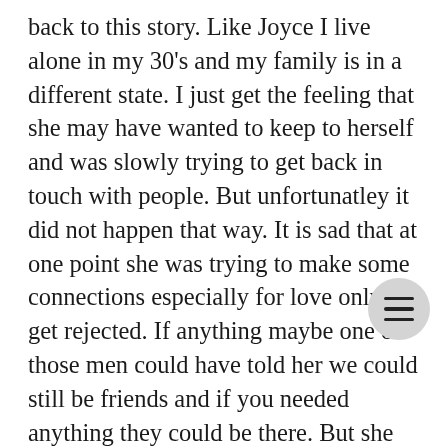back to this story. Like Joyce I live alone in my 30's and my family is in a different state. I just get the feeling that she may have wanted to keep to herself and was slowly trying to get back in touch with people. But unfortunatley it did not happen that way. It is sad that at one point she was trying to make some connections especially for love only to get rejected. If anything maybe one of those men could have told her we could still be friends and if you needed anything they could be there. But she was looking for something else. We are all responsible for our actions and the outcome of life. With Joyce it seems she may have been "burned out" and maybe her pride got in her way for really seeking support from family and friends. I know I'm guilty for not getting back with someone like I should. I'm